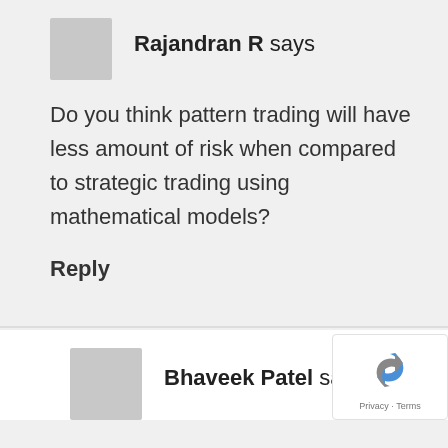Rajandran R says
Do you think pattern trading will have less amount of risk when compared to strategic trading using mathematical models?
Reply
Bhaveek Patel says